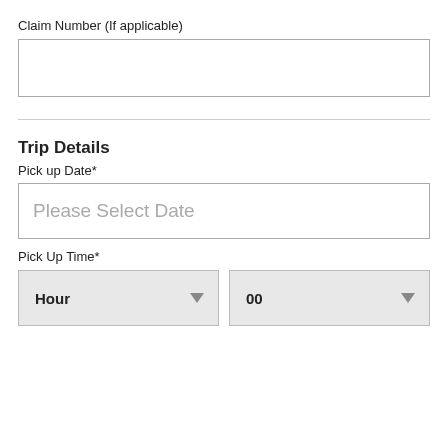Claim Number (If applicable)
Trip Details
Pick up Date*
Please Select Date
Pick Up Time*
Hour
00